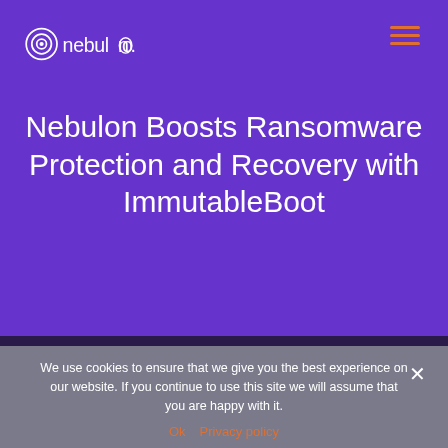[Figure (logo): Nebulon logo in white on purple background with spiral/swirl icon]
Nebulon Boosts Ransomware Protection and Recovery with ImmutableBoot
We use cookies to ensure that we give you the best experience on our website. If you continue to use this site we will assume that you are happy with it.
Ok   Privacy policy